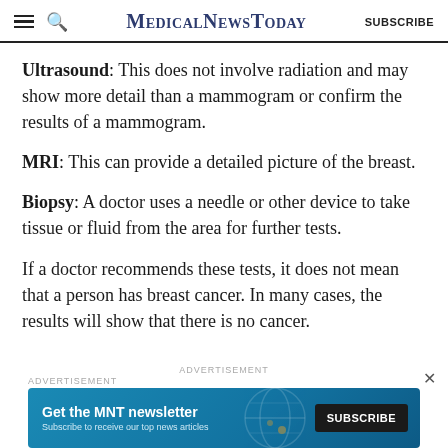MedicalNewsToday SUBSCRIBE
Ultrasound: This does not involve radiation and may show more detail than a mammogram or confirm the results of a mammogram.
MRI: This can provide a detailed picture of the breast.
Biopsy: A doctor uses a needle or other device to take tissue or fluid from the area for further tests.
If a doctor recommends these tests, it does not mean that a person has breast cancer. In many cases, the results will show that there is no cancer.
[Figure (other): Advertisement banner: Get the MNT newsletter — Subscribe to receive our top news articles. SUBSCRIBE button.]